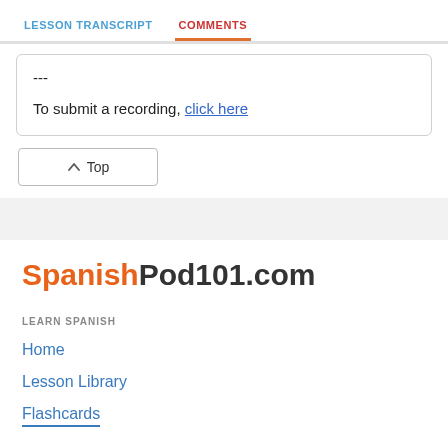LESSON TRANSCRIPT   COMMENTS
---
To submit a recording, click here
^ Top
[Figure (logo): SpanishPod101.com logo in orange and dark gray]
LEARN SPANISH
Home
Lesson Library
Flashcards